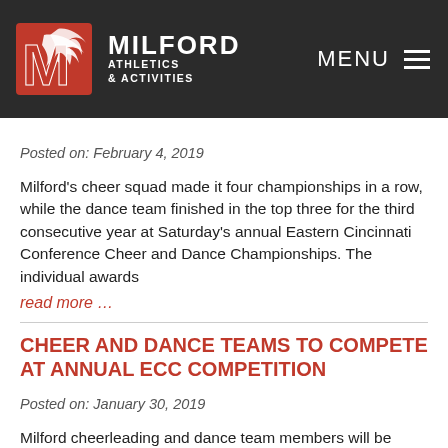[Figure (logo): Milford Athletics & Activities logo with red M and eagle, white text on dark background, with MENU button]
Posted on: February 4, 2019
Milford's cheer squad made it four championships in a row, while the dance team finished in the top three for the third consecutive year at Saturday's annual Eastern Cincinnati Conference Cheer and Dance Championships.  The individual awards
read more …
CHEER AND DANCE TEAMS TO COMPETE AT ANNUAL ECC COMPETITION
Posted on: January 30, 2019
Milford cheerleading and dance team members will be participating in the Fifth Annual Eastern Cincinnati Conference Cheer and Dance Competition.  The competition will be held Saturday, February 2nd at Walnut Hills High School.  Milford Cheer will